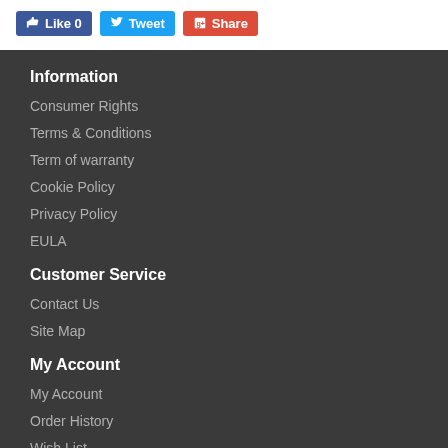[Figure (other): Social sharing buttons: Like 0 (Facebook), Tweet (Twitter), Share (Google+)]
Information
Consumer Rights
Terms & Conditions
Term of warranty
Cookie Policy
Privacy Policy
EULA
Customer Service
Contact Us
Site Map
My Account
My Account
Order History
Wish List
Newsletter